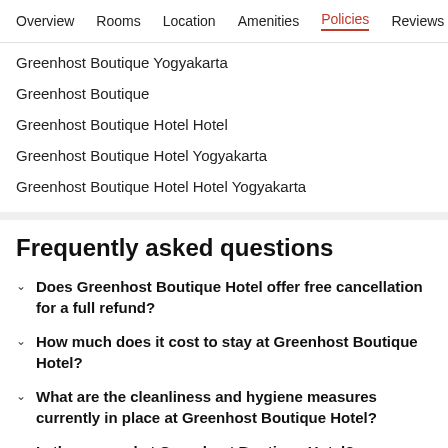Overview  Rooms  Location  Amenities  Policies  Reviews
Greenhost Boutique Yogyakarta
Greenhost Boutique
Greenhost Boutique Hotel Hotel
Greenhost Boutique Hotel Yogyakarta
Greenhost Boutique Hotel Hotel Yogyakarta
Frequently asked questions
Does Greenhost Boutique Hotel offer free cancellation for a full refund?
How much does it cost to stay at Greenhost Boutique Hotel?
What are the cleanliness and hygiene measures currently in place at Greenhost Boutique Hotel?
Is there a pool at Greenhost Boutique Hotel?